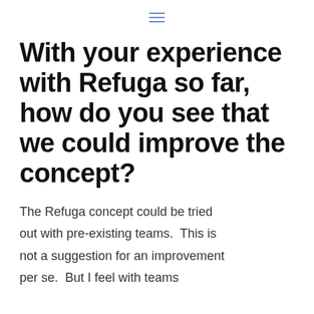≡
With your experience with Refuga so far, how do you see that we could improve the concept?
The Refuga concept could be tried out with pre-existing teams.  This is not a suggestion for an improvement per se.  But I feel with teams